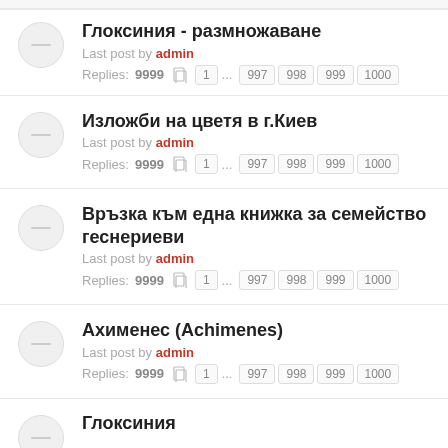Глоксиния - размножаване
Last post by admin
Replies: 9999  1 ... 997 998 999 1000
Изложби на цветя в г.Киев
Last post by admin
Replies: 9999  1 ... 997 998 999 1000
Връзка към една книжка за семейство геснериеви
Last post by admin
Replies: 9999  1 ... 997 998 999 1000
Ахименес (Achimenes)
Last post by admin
Replies: 9999  1 ... 997 998 999 1000
Глоксиния